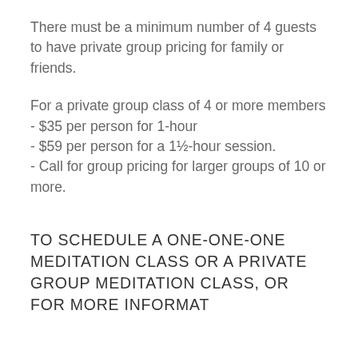There must be a minimum number of 4 guests to have private group pricing for family or friends.
For a private group class of 4 or more members
- $35 per person for 1-hour
- $59 per person for a 1½-hour session.
- Call for group pricing for larger groups of 10 or more.
TO SCHEDULE A ONE-ONE-ONE MEDITATION CLASS OR A PRIVATE GROUP MEDITATION CLASS, OR FOR MORE INFORMAT